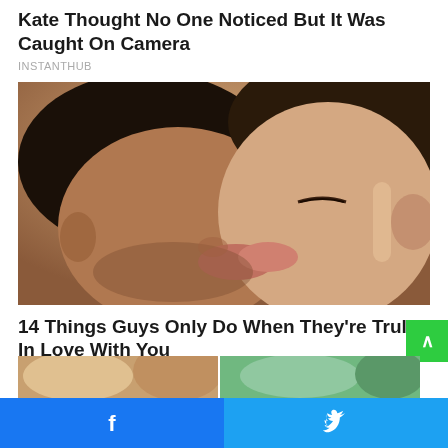Kate Thought No One Noticed But It Was Caught On Camera
INSTANTHUB
[Figure (photo): Close-up photo of a couple kissing, man on left with dark hair, woman on right with dark hair, warm tones]
14 Things Guys Only Do When They're Truly In Love With You
HERBEAUTY
[Figure (photo): Two thumbnail images partially visible at bottom of page]
Facebook share button | Twitter share button